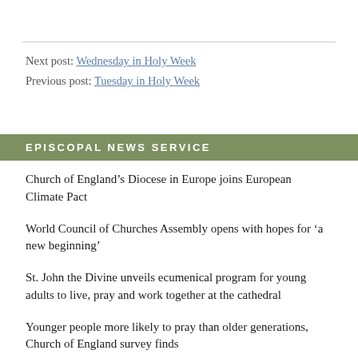Next post: Wednesday in Holy Week
Previous post: Tuesday in Holy Week
EPISCOPAL NEWS SERVICE
Church of England’s Diocese in Europe joins European Climate Pact
World Council of Churches Assembly opens with hopes for ‘a new beginning’
St. John the Divine unveils ecumenical program for young adults to live, pray and work together at the cathedral
Younger people more likely to pray than older generations, Church of England survey finds